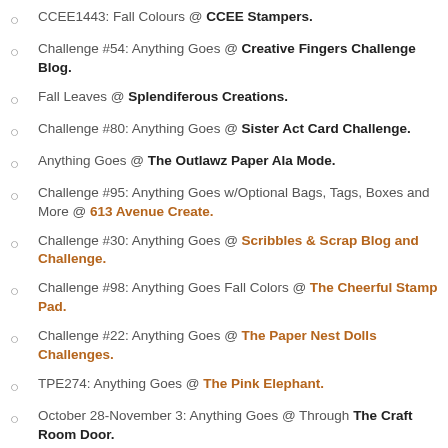CCEE1443: Fall Colours @ CCEE Stampers.
Challenge #54: Anything Goes @ Creative Fingers Challenge Blog.
Fall Leaves @ Splendiferous Creations.
Challenge #80: Anything Goes @ Sister Act Card Challenge.
Anything Goes @ The Outlawz Paper Ala Mode.
Challenge #95: Anything Goes w/Optional Bags, Tags, Boxes and More @ 613 Avenue Create.
Challenge #30: Anything Goes @ Scribbles & Scrap Blog and Challenge.
Challenge #98: Anything Goes Fall Colors @ The Cheerful Stamp Pad.
Challenge #22: Anything Goes @ The Paper Nest Dolls Challenges.
TPE274: Anything Goes @ The Pink Elephant.
October 28-November 3: Anything Goes @ Through The Craft Room Door.